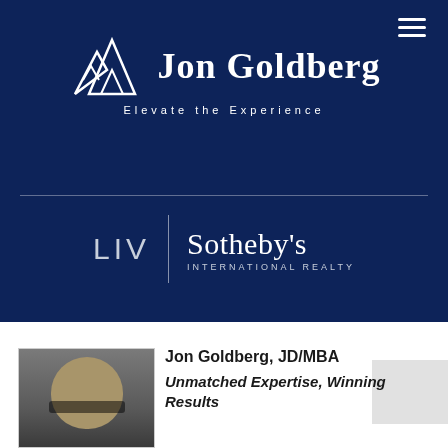[Figure (logo): Jon Goldberg logo with mountain/triangle icon and text 'Jon Goldberg' and tagline 'Elevate the Experience' on dark navy background]
[Figure (logo): LIV Sotheby's International Realty logo with vertical bar separator on dark navy background]
[Figure (photo): Headshot photo of Jon Goldberg, a man with glasses and bald head, in professional attire]
Jon Goldberg, JD/MBA
Unmatched Expertise, Winning Results